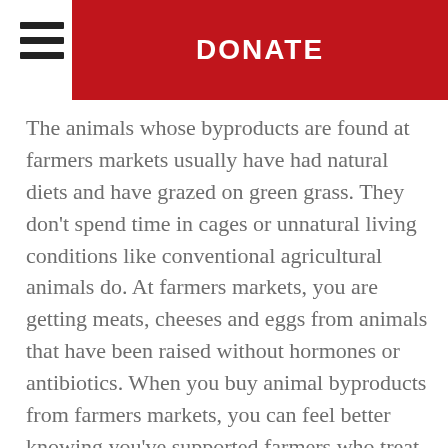DONATE
The animals whose byproducts are found at farmers markets usually have had natural diets and have grazed on green grass. They don’t spend time in cages or unnatural living conditions like conventional agricultural animals do. At farmers markets, you are getting meats, cheeses and eggs from animals that have been raised without hormones or antibiotics. When you buy animal byproducts from farmers markets, you can feel better knowing you’ve supported farmers who treat their animals safely and humanely.